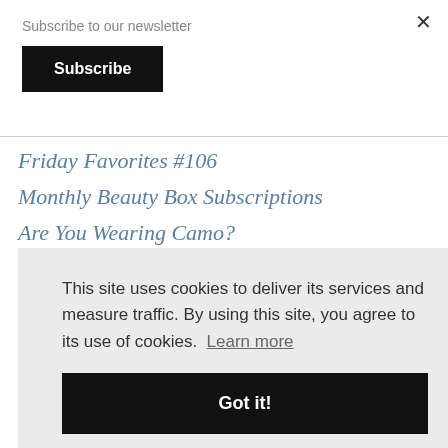×
Subscribe to our newsletter
Subscribe
Friday Favorites #106
Monthly Beauty Box Subscriptions
Are You Wearing Camo?
This site uses cookies to deliver its services and measure traffic. By using this site, you agree to its use of cookies.  Learn more
Got it!